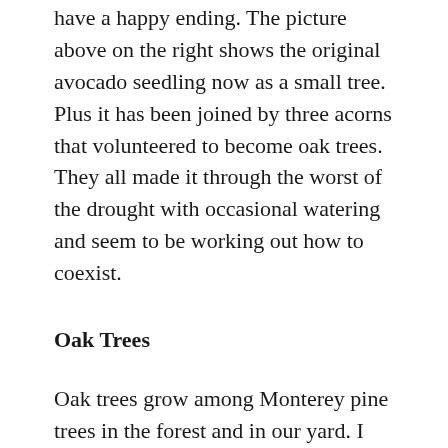have a happy ending. The picture above on the right shows the original avocado seedling now as a small tree. Plus it has been joined by three acorns that volunteered to become oak trees. They all made it through the worst of the drought with occasional watering and seem to be working out how to coexist.
Oak Trees
Oak trees grow among Monterey pine trees in the forest and in our yard. I knew oak trees grew slowly but it seemed like the oak trees in our yard were growing substantially slower than a snail's pace. The oak tree leaves are leathery with pointy spiked edges so we did not